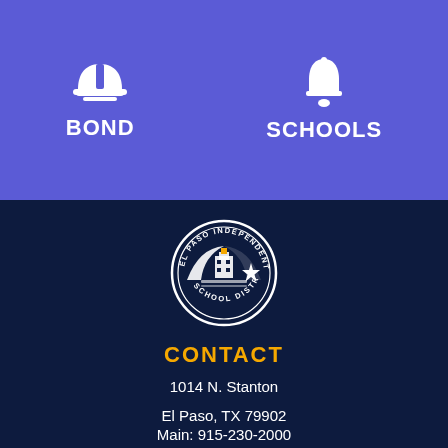[Figure (infographic): Navigation bar with hard hat icon labeled BOND and bell icon labeled SCHOOLS on purple background]
[Figure (logo): El Paso Independent School District circular seal/logo on dark navy background]
CONTACT
1014 N. Stanton
El Paso, TX 79902
Main: 915-230-2000
[Figure (infographic): Social media icons: Facebook, Twitter, Instagram, YouTube, TikTok]